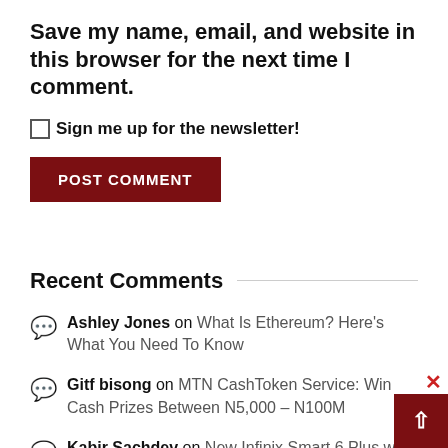Save my name, email, and website in this browser for the next time I comment.
Sign me up for the newsletter!
POST COMMENT
Recent Comments
Ashley Jones on What Is Ethereum? Here’s What You Need To Know
Gitf bisong on MTN CashToken Service: Win Cash Prizes Between N5,000 – N100M
Kabir Sachdev on New Infinix Smart 6 Plus with 6.82” display, different design launched in India